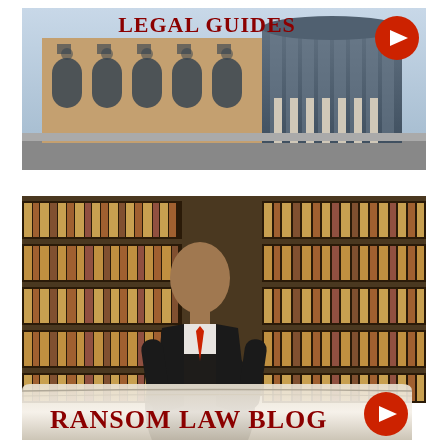[Figure (photo): Legal Guides banner with courthouse/court building photo and red play button. Text reads 'Legal Guides' in dark red serif font.]
[Figure (photo): Ransom Law Blog banner with photo of lawyer in suit posing in front of law book shelves, with a ribbon overlay reading 'Ransom Law Blog' and a red play button.]